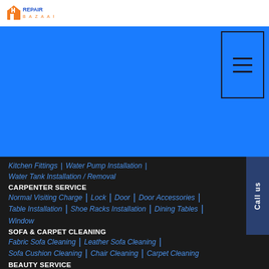[Figure (logo): Repair Bazaar logo with orange house icon and blue text]
[Figure (other): Blue banner with hamburger menu icon in top-right box]
Kitchen Fittings | Water Pump Installation |
Water Tank Installation / Removal
CARPENTER SERVICE
Normal Visiting Charge | Lock | Door | Door Accessories |
Table Installation | Shoe Racks Installation | Dining Tables |
Window
SOFA & CARPET CLEANING
Fabric Sofa Cleaning | Leather Sofa Cleaning |
Sofa Cushion Cleaning | Chair Cleaning | Carpet Cleaning
BEAUTY SERVICE